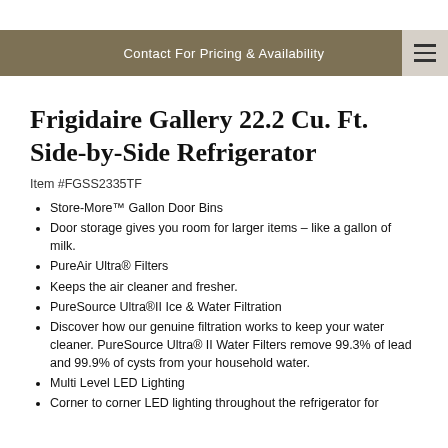Contact For Pricing & Availability
Frigidaire Gallery 22.2 Cu. Ft. Side-by-Side Refrigerator
Item #FGSS2335TF
Store-More™ Gallon Door Bins
Door storage gives you room for larger items – like a gallon of milk.
PureAir Ultra® Filters
Keeps the air cleaner and fresher.
PureSource Ultra®II Ice & Water Filtration
Discover how our genuine filtration works to keep your water cleaner. PureSource Ultra® II Water Filters remove 99.3% of lead and 99.9% of cysts from your household water.
Multi Level LED Lighting
Corner to corner LED lighting throughout the refrigerator for